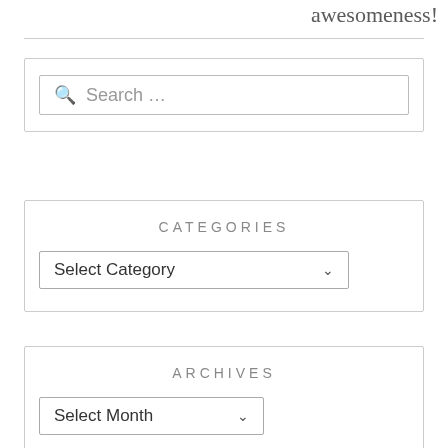awesomeness!
[Figure (screenshot): Search input box with magnifying glass icon and placeholder text 'Search ...']
CATEGORIES
[Figure (screenshot): Dropdown selector labeled 'Select Category' with chevron arrow]
ARCHIVES
[Figure (screenshot): Dropdown selector labeled 'Select Month' with chevron arrow]